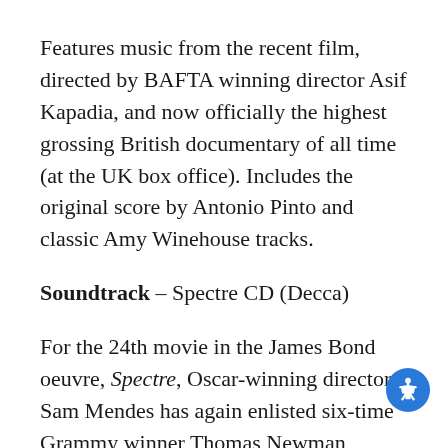Features music from the recent film, directed by BAFTA winning director Asif Kapadia, and now officially the highest grossing British documentary of all time (at the UK box office). Includes the original score by Antonio Pinto and classic Amy Winehouse tracks.
Soundtrack – Spectre CD (Decca)
For the 24th movie in the James Bond oeuvre, Spectre, Oscar-winning director Sam Mendes has again enlisted six-time Grammy winner Thomas Newman (Skyfall, American Beauty) to write a breathtaking original score. The soundtrack has the added bonus of an instrumental version of the new Bond theme